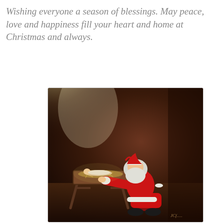Wishing everyone a season of blessings. May peace, love and happiness fill your heart and home at Christmas and always.
[Figure (illustration): A painting of Santa Claus kneeling reverently before a manger, bowing his head toward the baby Jesus. A bright beam of light shines from the upper left, illuminating the scene. Santa wears his traditional red suit with white fur trim. The setting is a dark stable interior.]